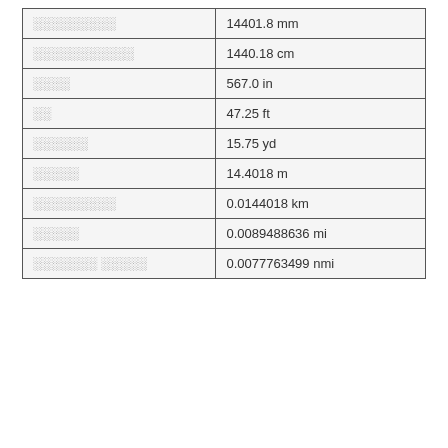| ░░░░░░░░░ | 14401.8 mm |
| ░░░░░░░░░░░ | 1440.18 cm |
| ░░░░ | 567.0 in |
| ░░ | 47.25 ft |
| ░░░░░░ | 15.75 yd |
| ░░░░░ | 14.4018 m |
| ░░░░░░░░░ | 0.0144018 km |
| ░░░░░ | 0.0089488636 mi |
| ░░░░░░░ ░░░░░ | 0.0077763499 nmi |